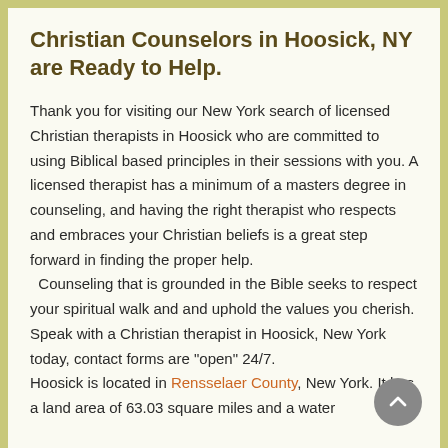Christian Counselors in Hoosick, NY are Ready to Help.
Thank you for visiting our New York search of licensed Christian therapists in Hoosick who are committed to using Biblical based principles in their sessions with you. A licensed therapist has a minimum of a masters degree in counseling, and having the right therapist who respects and embraces your Christian beliefs is a great step forward in finding the proper help.  Counseling that is grounded in the Bible seeks to respect your spiritual walk and and uphold the values you cherish. Speak with a Christian therapist in Hoosick, New York today, contact forms are "open" 24/7.
Hoosick is located in Rensselaer County, New York. It has a land area of 63.03 square miles and a water...